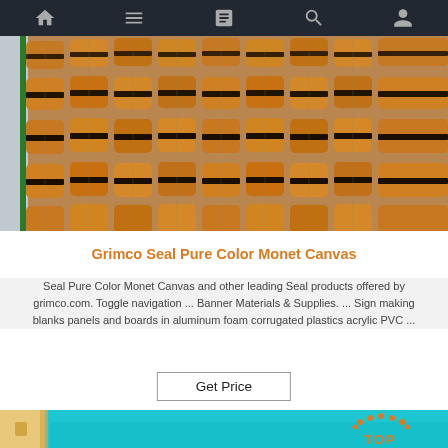Navigation bar with home, menu, document, search, and user icons
[Figure (photo): Industrial manufacturing photo showing rows of orange/amber thread spools or bobbins on a machine frame with metal clips and thin wires, viewed from above at an angle.]
Grimco Seal Pure Color Monet Canvas
Seal Pure Color Monet Canvas and other leading Seal products offered by grimco.com. Toggle navigation ... Banner Materials & Supplies. ... Sign making blanks panels and boards in aluminum foam corrugated plastics acrylic PVC ...
Get Price
[Figure (photo): Photo of a cyan/turquoise colored canvas or board with a wooden frame visible at the side, and an orange dotted arc 'TOP' logo in the bottom right corner.]